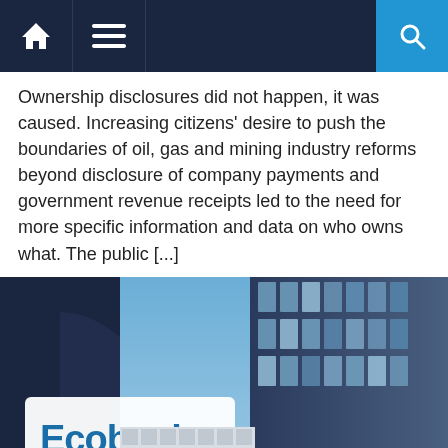Navigation bar with home, menu, and search icons
Ownership disclosures did not happen, it was caused. Increasing citizens’ desire to push the boundaries of oil, gas and mining industry reforms beyond disclosure of company payments and government revenue receipts led to the need for more specific information and data on who owns what. The public [...]
[Figure (photo): Exterior photograph of an Ecobank building showing the Ecobank sign reading 'Ecobank The Pan African Bank', with a modern glass office tower and blue sky in the background.]